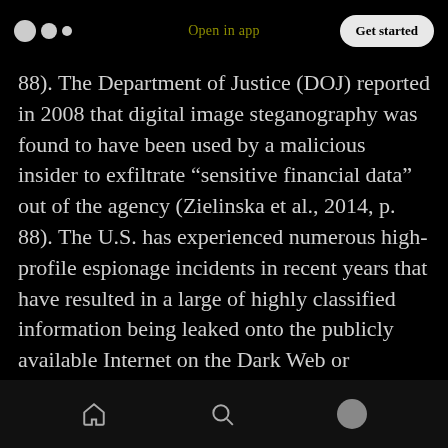Open in app | Get started
88). The Department of Justice (DOJ) reported in 2008 that digital image steganography was found to have been used by a malicious insider to exfiltrate “sensitive financial data” out of the agency (Zielinska et al., 2014, p. 88). The U.S. has experienced numerous high-profile espionage incidents in recent years that have resulted in a large of highly classified information being leaked onto the publicly available Internet on the Dark Web or websites such as WikiLeaks.
The best method that system administrations can use to protect against steganography applications
Home | Search | Profile